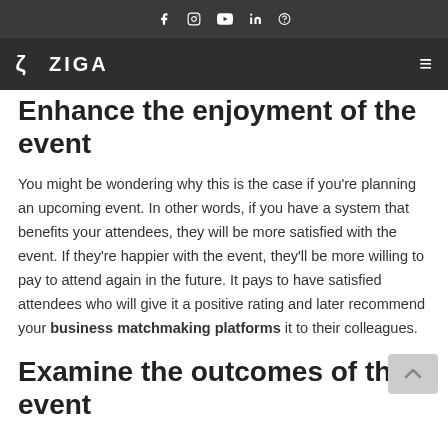Social media icons: Facebook, Instagram, YouTube, LinkedIn, Pinterest
ZIGA (logo navigation bar)
Enhance the enjoyment of the event
You might be wondering why this is the case if you're planning an upcoming event. In other words, if you have a system that benefits your attendees, they will be more satisfied with the event. If they're happier with the event, they'll be more willing to pay to attend again in the future. It pays to have satisfied attendees who will give it a positive rating and later recommend your business matchmaking platforms it to their colleagues.
Examine the outcomes of the event